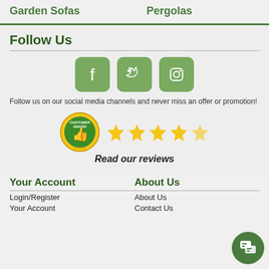Garden Sofas
Pergolas
Follow Us
[Figure (illustration): Three green rounded square social media icons: Facebook, Twitter, Instagram]
Follow us on our social media channels and never miss an offer or promotion!
[Figure (illustration): Customer Award eKomi badge with thumbs up icon and five golden stars rating]
Read our reviews
Your Account
Login/Register
Your Account
About Us
About Us
Contact Us